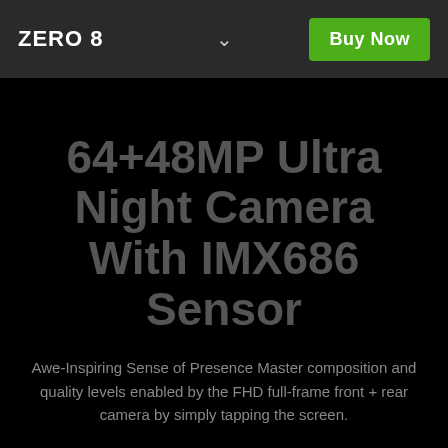ZERO 8
64+48MP Ultra Night Camera With IMX686 Sensor
Awe-Inspiring Sense of Presence Master composition and quality levels enabled by the FHD full-frame front + rear camera by simply tapping the screen.